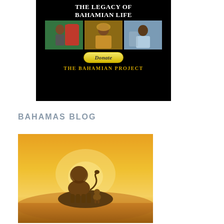[Figure (illustration): Advertisement for The Bahamian Project on black background. Shows title 'The Legacy of Bahamian Life' in white serif text, three photos of elderly Bahamian people, a yellow donate button, and 'The Bahamian Project' in gold text at bottom.]
BAHAMAS BLOG
[Figure (photo): Lion King style silhouette image showing a large lion and small cub standing on a rock against a golden sunset sky.]